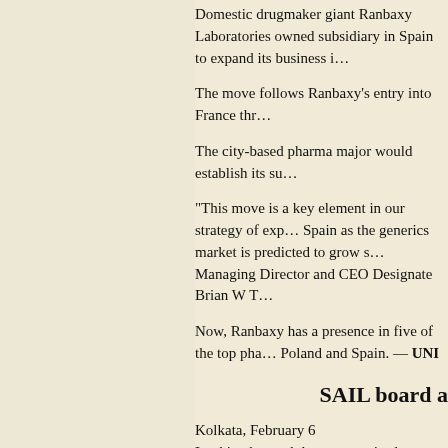Domestic drugmaker giant Ranbaxy Laboratories owned subsidiary in Spain to expand its business i…
The move follows Ranbaxy's entry into France thr…
The city-based pharma major would establish its su…
"This move is a key element in our strategy of exp… Spain as the generics market is predicted to grow s… Managing Director and CEO Designate Brian W T…
Now, Ranbaxy has a presence in five of the top pha… Poland and Spain. — UNI
SAIL board a
Kolkata, February 6
Looking beyond the company's plan to increase ho… Steel Authority of India (SAIL) board recently app… strengthening the existing facilities for future expa…
"The SAIL board has approved in principle three m… battery no 5 at its flagship Bhilai Steel Plant (BSP)… mill and installation of a cast house slag granulatio… company sources said PTI.